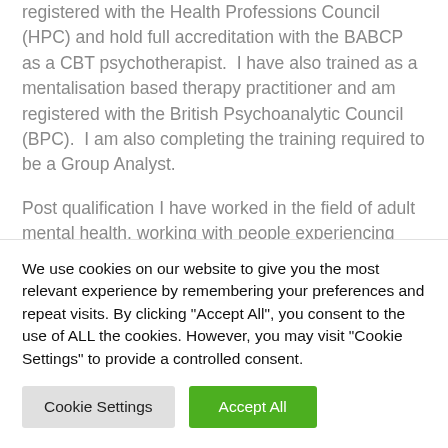registered with the Health Professions Council (HPC) and hold full accreditation with the BABCP as a CBT psychotherapist.  I have also trained as a mentalisation based therapy practitioner and am registered with the British Psychoanalytic Council (BPC).  I am also completing the training required to be a Group Analyst.
Post qualification I have worked in the field of adult mental health, working with people experiencing severe and enduring mental health difficulties.  I've developed a particular interest in working with people who have experienced complex trauma, eating disorders, low mood,
We use cookies on our website to give you the most relevant experience by remembering your preferences and repeat visits. By clicking "Accept All", you consent to the use of ALL the cookies. However, you may visit "Cookie Settings" to provide a controlled consent.